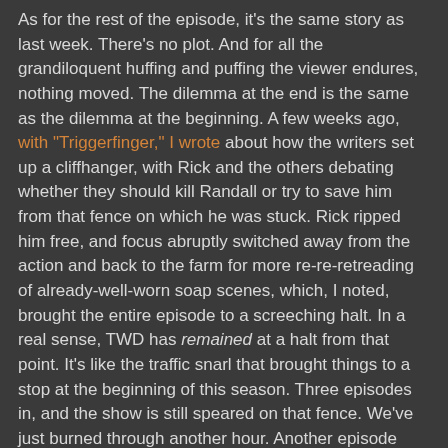As for the rest of the episode, it's the same story as last week. There's no plot. And for all the grandiloquent huffing and puffing the viewer endures, nothing moved. The dilemma at the end is the same as the dilemma at the beginning. A few weeks ago, with "Triggerfinger," I wrote about how the writers set up a cliffhanger, with Rick and the others debating whether they should kill Randall or try to save him from that fence on which he was stuck. Rick ripped him free, and focus abruptly switched away from the action and back to the farm for more re-re-retreading of already-well-worn soap scenes, which, I noted, brought the entire episode to a screeching halt. In a real sense, TWD has remained at a halt from that point. It's like the traffic snarl that brought things to a stop at the beginning of this season. Three episodes in, and the show is still speared on that fence. We've just burned through another hour. Another episode toward meeting AMC's order for this year. But that's about it.
What are the writers doing with TWD?
As little as possible.